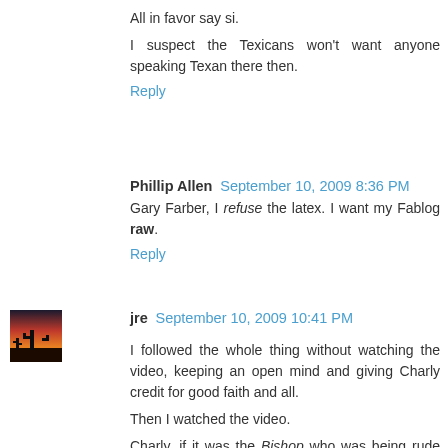All in favor say si.
I suspect the Texicans won't want anyone speaking Texan there then.
Reply
Phillip Allen  September 10, 2009 8:36 PM
Gary Farber, I refuse the latex. I want my Fablog raw.
Reply
jre  September 10, 2009 10:41 PM
I followed the whole thing without watching the video, keeping an open mind and giving Charly credit for good faith and all.
Then I watched the video.
Charly, if it was the Bishop who was being rude there, the